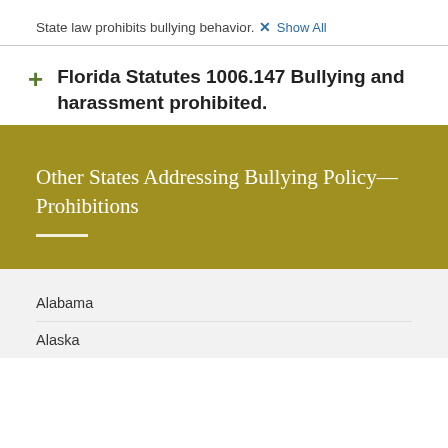State law prohibits bullying behavior.
Show All
Florida Statutes 1006.147 Bullying and harassment prohibited.
Other States Addressing Bullying Policy—Prohibitions
Alabama
Alaska